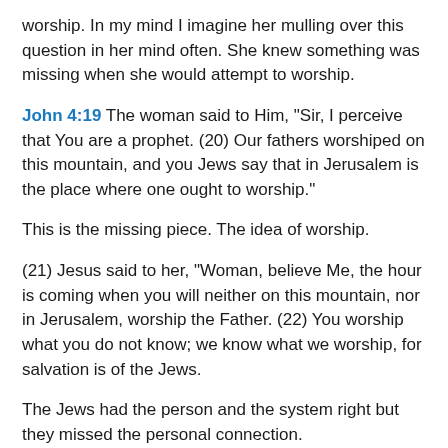worship. In my mind I imagine her mulling over this question in her mind often. She knew something was missing when she would attempt to worship.
John 4:19 The woman said to Him, "Sir, I perceive that You are a prophet. (20) Our fathers worshiped on this mountain, and you Jews say that in Jerusalem is the place where one ought to worship."
This is the missing piece. The idea of worship.
(21) Jesus said to her, "Woman, believe Me, the hour is coming when you will neither on this mountain, nor in Jerusalem, worship the Father. (22) You worship what you do not know; we know what we worship, for salvation is of the Jews.
The Jews had the person and the system right but they missed the personal connection.